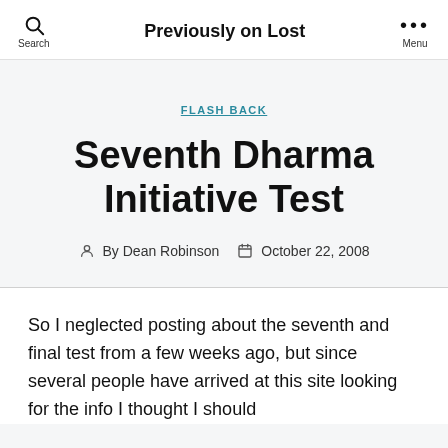Previously on Lost
FLASH BACK
Seventh Dharma Initiative Test
By Dean Robinson   October 22, 2008
So I neglected posting about the seventh and final test from a few weeks ago, but since several people have arrived at this site looking for the info I thought I should